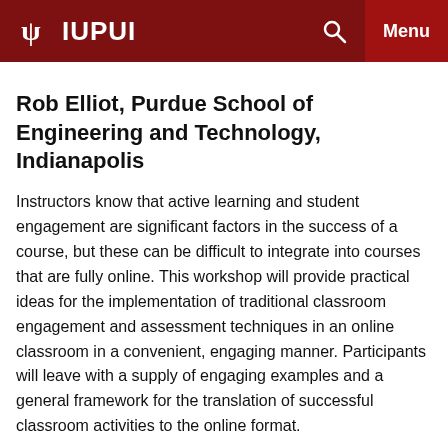IUPUI
Rob Elliot, Purdue School of Engineering and Technology, Indianapolis
Instructors know that active learning and student engagement are significant factors in the success of a course, but these can be difficult to integrate into courses that are fully online. This workshop will provide practical ideas for the implementation of traditional classroom engagement and assessment techniques in an online classroom in a convenient, engaging manner. Participants will leave with a supply of engaging examples and a general framework for the translation of successful classroom activities to the online format.
Help Course Networking To...